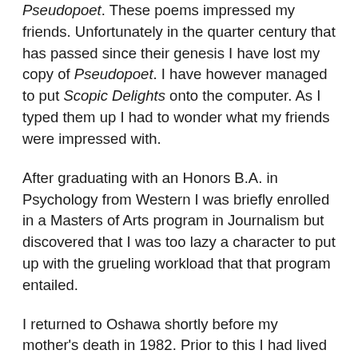Pseudopoet. These poems impressed my friends. Unfortunately in the quarter century that has passed since their genesis I have lost my copy of Pseudopoet. I have however managed to put Scopic Delights onto the computer. As I typed them up I had to wonder what my friends were impressed with.
After graduating with an Honors B.A. in Psychology from Western I was briefly enrolled in a Masters of Arts program in Journalism but discovered that I was too lazy a character to put up with the grueling workload that that program entailed.
I returned to Oshawa shortly before my mother's death in 1982. Prior to this I had lived in London and struggled to find employment. Apparently in that era the only position that my degree qualified me for at the local psychiatric hospital was in housekeeping.